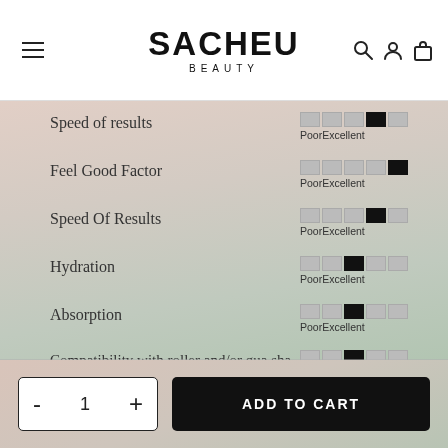SACHEU BEAUTY
Speed of results — Poor to Excellent slider (4 of 5)
Feel Good Factor — Poor to Excellent slider (5 of 5)
Speed Of Results — Poor to Excellent slider (4 of 5)
Hydration — Poor to Excellent slider (3 of 5)
Absorption — Poor to Excellent slider (3 of 5)
Compatibility with roller and/or gua sha — Poor to Excellent slider (3 of 5)
- 1 + ADD TO CART